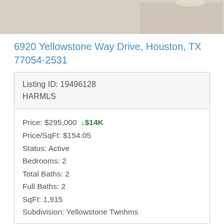[Figure (photo): Interior photo of a modern living room with white round coffee tables, light gray sofas, and hardwood floors. White credenza and dining area visible in background.]
6920 Yellowstone Way Drive, Houston, TX 77054-2531
| Listing ID: 19496128 |
| HARMLS |
| Price: $295,000  ↓$14K |
| Price/SqFt: $154.05 |
| Status: Active |
| Bedrooms: 2 |
| Total Baths: 2 |
| Full Baths: 2 |
| SqFt: 1,915 |
| Subdivision: Yellowstone Twnhms |